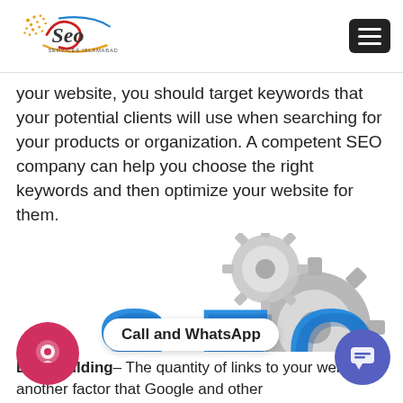[Figure (logo): SEO Services Islamabad logo with decorative swirl and dots]
your website, you should target keywords that your potential clients will use when searching for your products or organization. A competent SEO company can help you choose the right keywords and then optimize your website for them.
[Figure (illustration): 3D blue letters SEO with gray gear icons on top right]
Call and WhatsApp
Link Building– The quantity of links to your website is another factor that Google and other